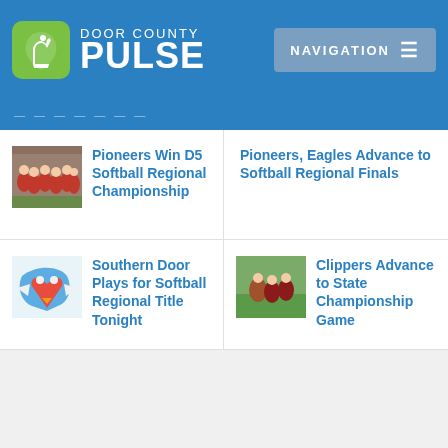DOOR COUNTY PULSE — NAVIGATION
Pioneers Win D5 Softball Regional Championship
Pioneers, Eagles Advance to Softball Regional Finals
Southern Door Plays for Softball Regional Title Tonight
Clippers Advance to State Championship Game